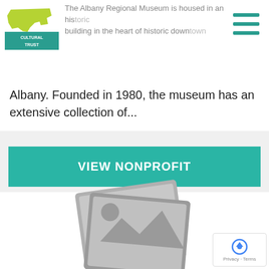[Figure (logo): Oregon Cultural Trust logo — green Oregon state silhouette with 'CULTURAL TRUST' text]
[Figure (illustration): Hamburger menu icon (three horizontal teal lines)]
The Albany Regional Museum is housed in an historic building in the heart of historic downtown Albany. Founded in 1980, the museum has an extensive collection of...
VIEW NONPROFIT
[Figure (illustration): Image placeholder icon — two overlapping grey photo frames with mountain/sun silhouette]